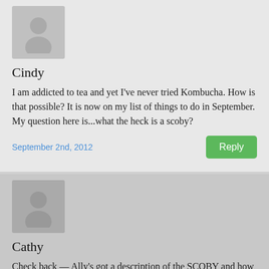[Figure (illustration): Gray avatar silhouette placeholder image for commenter Cindy]
Cindy
I am addicted to tea and yet I've never tried Kombucha. How is that possible? It is now on my list of things to do in September. My question here is...what the heck is a scoby?
September 2nd, 2012
[Figure (illustration): Gray avatar silhouette placeholder image for commenter Cathy]
Cathy
Check back — Ally's got a description of the SCOBY and how to make one in the 7th paragraph